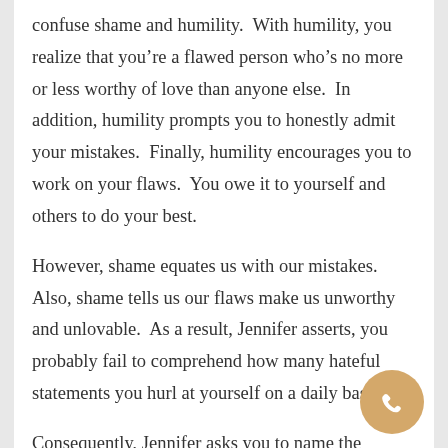confuse shame and humility.  With humility, you realize that you're a flawed person who's no more or less worthy of love than anyone else.  In addition, humility prompts you to honestly admit your mistakes.  Finally, humility encourages you to work on your flaws.  You owe it to yourself and others to do your best.
However, shame equates us with our mistakes.  Also, shame tells us our flaws make us unworthy and unlovable.  As a result, Jennifer asserts, you probably fail to comprehend how many hateful statements you hurl at yourself on a daily basis.
Consequently, Jennifer asks you to name the